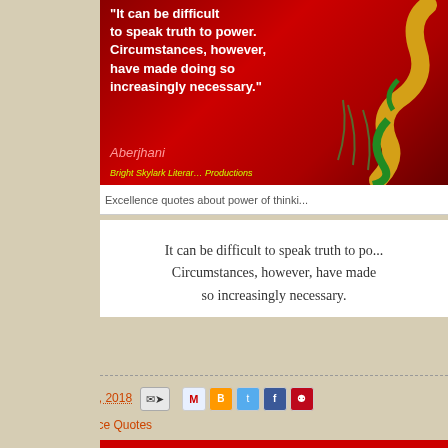[Figure (illustration): Quote image on dark red background with text 'It can be difficult to speak truth to power. Circumstances, however, have made doing so increasingly necessary.' attributed to Aberjhani, with yellow snake decoration and Bright Skylark Literary Productions branding]
Excellence quotes about power of thinki...
It can be difficult to speak truth to po... Circumstances, however, have made... so increasingly necessary.
at September 25, 2018
Labels: Excellence Quotes